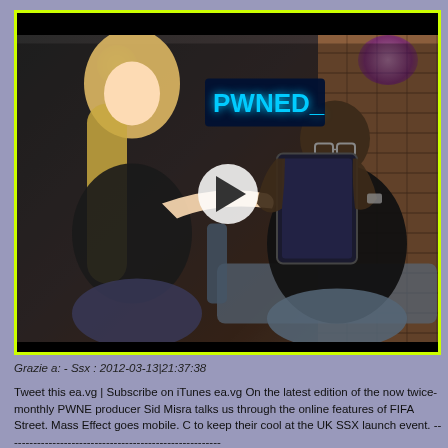[Figure (screenshot): Video thumbnail/screenshot showing two people in a lounge setting. A blonde woman on the left reaches toward a Black man on the right who is holding a tablet. A neon 'PWNED_' sign is visible in the background. A play button overlay is centered on the image. The video frame has a bright yellow-green border.]
Grazie a: - Ssx : 2012-03-13|21:37:38
Tweet this ea.vg | Subscribe on iTunes ea.vg On the latest edition of the now twice-monthly PWNE producer Sid Misra talks us through the online features of FIFA Street. Mass Effect goes mobile. C to keep their cool at the UK SSX launch event. --------------------------------------------------------